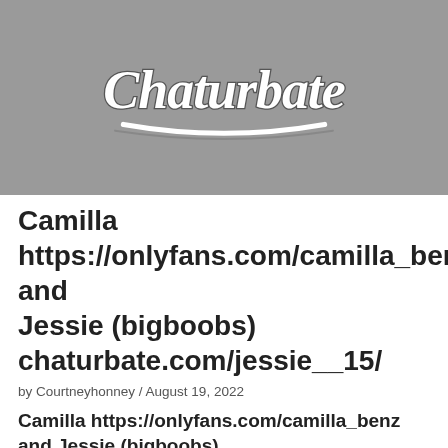[Figure (logo): Chaturbate logo on grey background]
Camilla https://onlyfans.com/camilla_benz and Jessie (bigboobs) chaturbate.com/jessie__15/
by Courtneyhonney / August 19, 2022
Camilla https://onlyfans.com/camilla_benz and Jessie (bigboobs) chaturbate.com/jessie__15/